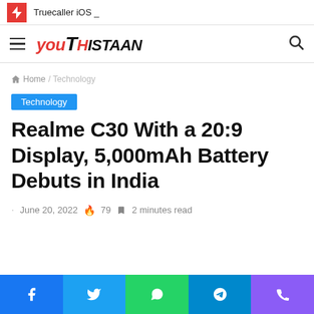Truecaller iOS _
[Figure (logo): Youthistaan logo in red and black italic bold text]
Home / Technology
Technology
Realme C30 With a 20:9 Display, 5,000mAh Battery Debuts in India
June 20, 2022  79  2 minutes read
[Figure (infographic): Social share bar with Facebook, Twitter, WhatsApp, Telegram, and Phone icons]